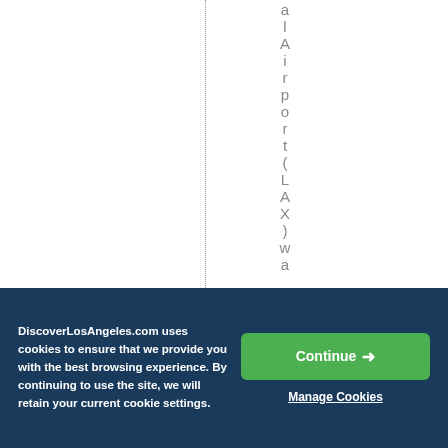[Figure (screenshot): White page area with a vertical dotted divider line and vertically-stacked characters spelling 'al Airport (LAX) wa' on the right side, suggesting a partially visible column label]
DiscoverLosAngeles.com uses cookies to ensure that we provide you with the best browsing experience. By continuing to use the site, we will retain your current cookie settings.
Continue →
Manage Cookies